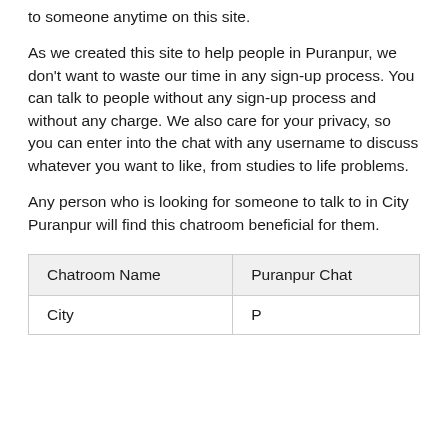to someone anytime on this site.
As we created this site to help people in Puranpur, we don't want to waste our time in any sign-up process. You can talk to people without any sign-up process and without any charge. We also care for your privacy, so you can enter into the chat with any username to discuss whatever you want to like, from studies to life problems.
Any person who is looking for someone to talk to in City Puranpur will find this chatroom beneficial for them.
| Chatroom Name | Puranpur Chat |
| --- | --- |
| City | P... |